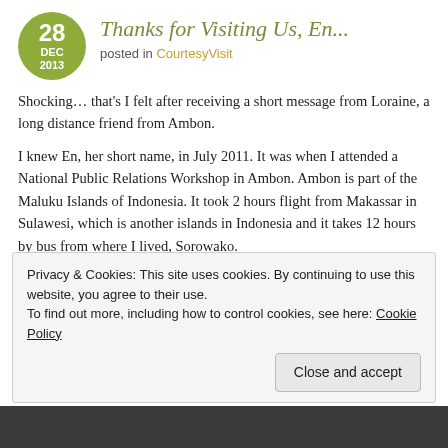Thanks for Visiting Us, En...
posted in CourtesyVisit
Shocking… that's I felt after receiving a short message from Loraine, a long distance friend from Ambon.
I knew En, her short name, in July 2011. It was when I attended a National Public Relations Workshop in Ambon. Ambon is part of the Maluku Islands of Indonesia. It took 2 hours flight from Makassar in Sulawesi, which is another islands in Indonesia and it takes 12 hours by bus from where I lived, Sorowako.
Privacy & Cookies: This site uses cookies. By continuing to use this website, you agree to their use.
To find out more, including how to control cookies, see here: Cookie Policy
[Figure (photo): Dark image strip at the bottom of the page]